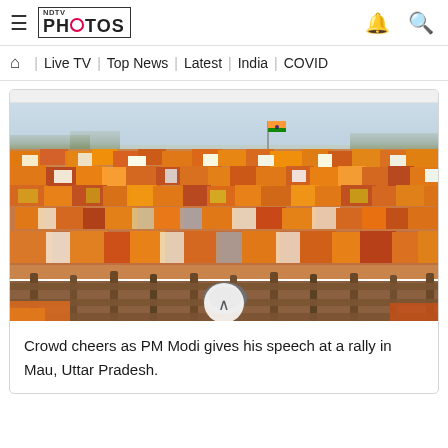NDTV PHOTOS
Live TV | Top News | Latest | India | COVID
[Figure (photo): A massive crowd at a BJP political rally in Mau, Uttar Pradesh. The crowd is densely packed, many wearing orange. A BJP flag (green, white, saffron) is visible in the background. Trees and hazy sky visible at the top. Wooden fence/barricades visible at the bottom foreground. A circular up-arrow button is overlaid at the bottom center of the image.]
Crowd cheers as PM Modi gives his speech at a rally in Mau, Uttar Pradesh.